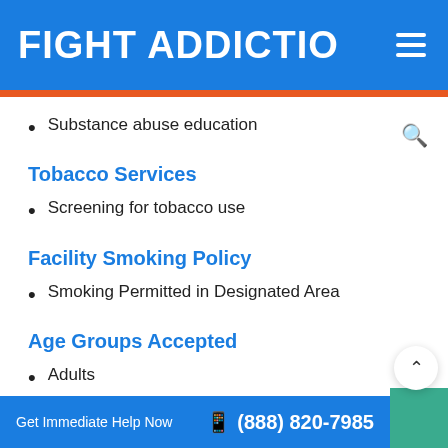FIGHT ADDICTIO
Substance abuse education
Tobacco Services
Screening for tobacco use
Facility Smoking Policy
Smoking Permitted in Designated Area
Age Groups Accepted
Adults
Get Immediate Help Now  📱 (888) 820-7985